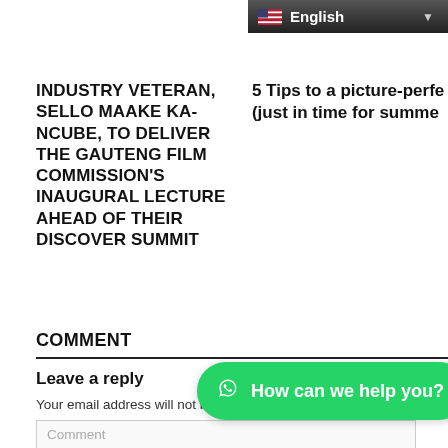[Figure (screenshot): Language selector bar showing US flag and 'English' text with dropdown arrow on dark background]
INDUSTRY VETERAN, SELLO MAAKE KA-NCUBE, TO DELIVER THE GAUTENG FILM COMMISSION'S INAUGURAL LECTURE AHEAD OF THEIR DISCOVER SUMMIT
5 Tips to a picture-perfe (just in time for summe
COMMENT
Leave a reply
Your email address will not be published. Required fields are mark
Comment
[Figure (screenshot): Green WhatsApp chat button with WhatsApp icon and text 'How can we help you?']